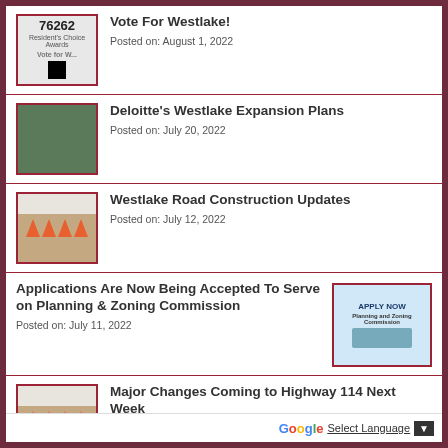[Figure (photo): Thumbnail image with '76262' zip code and QR code, Vote for Westlake branding]
Vote For Westlake!
Posted on: August 1, 2022
[Figure (photo): Aerial photo of Deloitte's Westlake campus with green trees]
Deloitte's Westlake Expansion Plans
Posted on: July 20, 2022
[Figure (photo): Photo of orange construction barrel cones in a row]
Westlake Road Construction Updates
Posted on: July 12, 2022
Applications Are Now Being Accepted To Serve on Planning & Zoning Commission
Posted on: July 11, 2022
[Figure (photo): Apply Now - Planning and Zoning Commission banner image]
[Figure (photo): Photo of orange construction barrel cones]
Major Changes Coming to Highway 114 Next Week
Posted on: June 24, 2022
Select Language